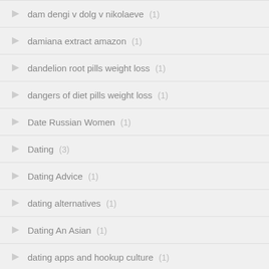dam dengi v dolg v nikolaeve (1)
damiana extract amazon (1)
dandelion root pills weight loss (1)
dangers of diet pills weight loss (1)
Date Russian Women (1)
Dating (3)
Dating Advice (1)
dating alternatives (1)
Dating An Asian (1)
dating apps and hookup culture (1)